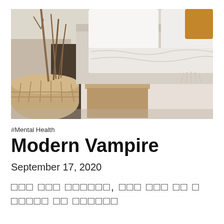[Figure (photo): Bedroom scene with white pillows and linen on a bed, an orange pillow, a wicker basket with dried branches on the left, and a wooden bedside table with a white mug placed on top of stacked books.]
#Mental Health
Modern Vampire
September 17, 2020
[text content in non-Latin script]